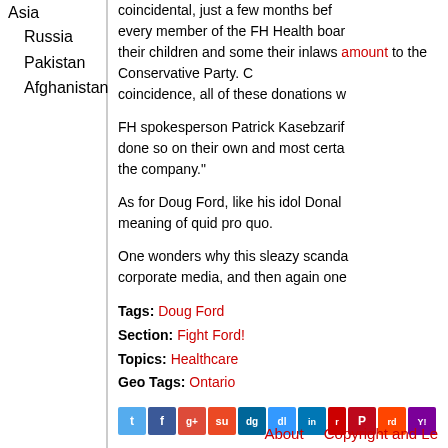Asia
Russia
Pakistan
Afghanistan
coincidental, just a few months bef... every member of the FH Health boar... their children and some their inlaws amount to the Conservative Party. C... coincidence, all of these donations w...
FH spokesperson Patrick Kasebzarif... done so on their own and most certa... the company."
As for Doug Ford, like his idol Donal... meaning of quid pro quo.
One wonders why this sleazy scanda... corporate media, and then again one...
Tags: Doug Ford
Section: Fight Ford!
Topics: Healthcare
Geo Tags: Ontario
[Figure (infographic): Row of social media sharing icons including Twitter, Facebook, Google+, StumbleUpon, Digg, Delicious, LinkedIn, Reddit, Pinterest, Reddit, Yahoo, Email]
About   Copyright and Le...